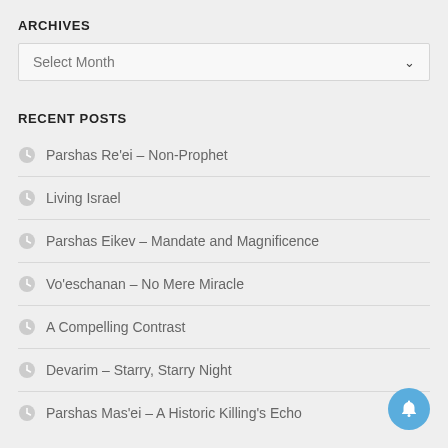ARCHIVES
Select Month
RECENT POSTS
Parshas Re'ei – Non-Prophet
Living Israel
Parshas Eikev – Mandate and Magnificence
Vo'eschanan – No Mere Miracle
A Compelling Contrast
Devarim – Starry, Starry Night
Parshas Mas'ei – A Historic Killing's Echo